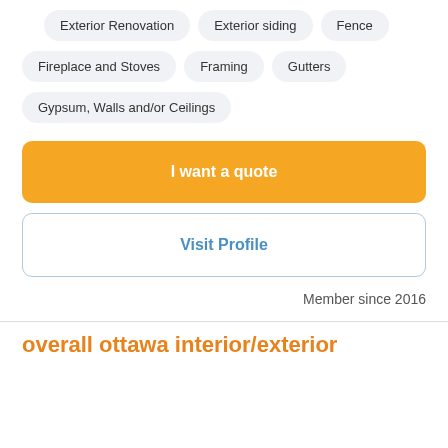Exterior Renovation
Exterior siding
Fence
Fireplace and Stoves
Framing
Gutters
Gypsum, Walls and/or Ceilings
I want a quote
Visit Profile
Member since 2016
overall ottawa interior/exterior